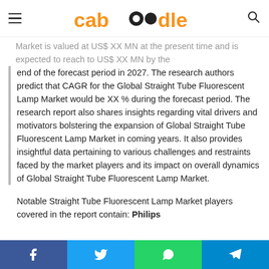caboodle [logo]
Market is valued at US$ XX MN at the present time and is expected to reach to US$ XX MN by the end of the forecast period in 2027. The research authors predict that CAGR for the Global Straight Tube Fluorescent Lamp Market would be XX % during the forecast period. The research report also shares insights regarding vital drivers and motivators bolstering the expansion of Global Straight Tube Fluorescent Lamp Market in coming years. It also provides insightful data pertaining to various challenges and restraints faced by the market players and its impact on overall dynamics of Global Straight Tube Fluorescent Lamp Market.
Notable Straight Tube Fluorescent Lamp Market players covered in the report contain: Philips
Facebook | Twitter | WhatsApp | Telegram